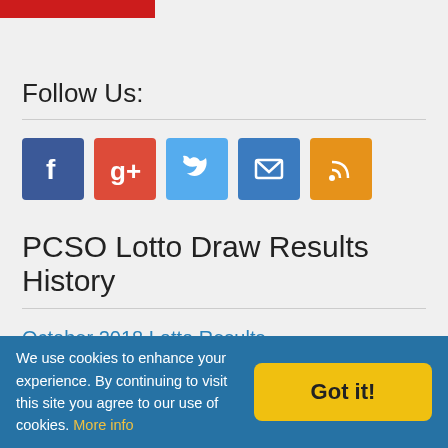[Figure (other): Partial red banner at top of page, cropped]
Follow Us:
[Figure (other): Social media icons: Facebook (blue), Google+ (red), Twitter (light blue), Email (blue), RSS (orange)]
PCSO Lotto Draw Results History
October 2018 Lotto Results
September 2018 Lotto Results
August 2018 Lotto Results
July 2018 Lotto Results
We use cookies to enhance your experience. By continuing to visit this site you agree to our use of cookies. More info